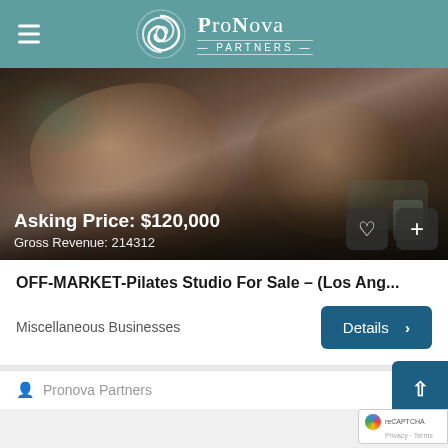ProNova Partners
[Figure (photo): Pilates studio photo showing people doing pilates exercises on mats, with overlay text showing Asking Price: $120,000 and Gross Revenue: 214312]
OFF-MARKET-Pilates Studio For Sale – (Los Ang...
Miscellaneous Businesses
Details >
Pronova Partners
Privacy · Terms